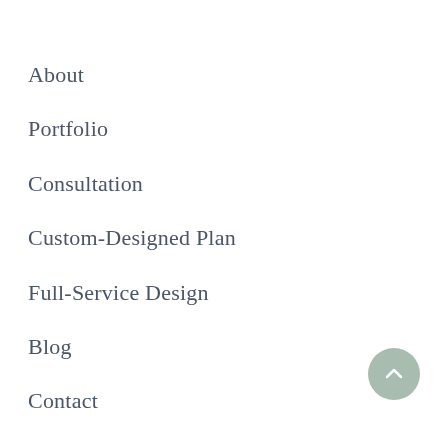About
Portfolio
Consultation
Custom-Designed Plan
Full-Service Design
Blog
Contact
Sustainability Statement
[Figure (illustration): Circular sage/muted green back-to-top button with an upward chevron arrow, positioned at bottom right]